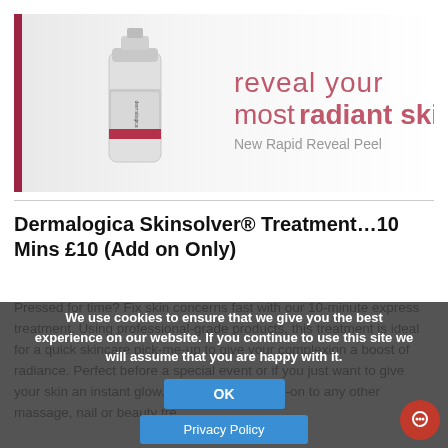[Figure (illustration): Dermalogica banner advertisement showing a tube of Rapid Reveal Peel product on a white/light grey background with text 'reveal your most radiant skin' and 'New Rapid Reveal Peel']
Dermalogica Skinsolver® Treatment…10 Mins £10 (Add on Only)
Pressed for time? Fix skin concerns fast with our 10-minute express treatment. Using professional-grade products, this treatment is ideal for a quick skincare pick-me-up to give your complexion a boost of radiance. Perfect before a special event or if you just want to give your skin an instant glow. Available as an add-on to any other massage, nail or beauty tre...
We use cookies to ensure that we give you the best experience on our website. If you continue to use this site we will assume that you are happy with it.